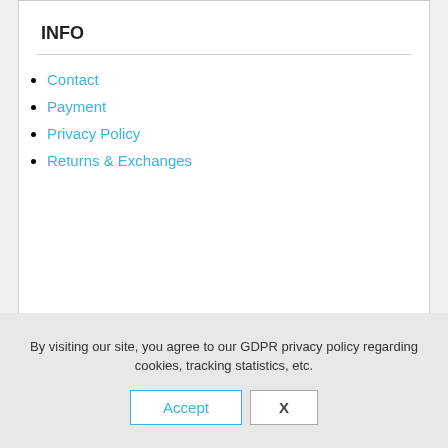INFO
Contact
Payment
Privacy Policy
Returns & Exchanges
PAGES
Payment
Returns & Exchanges
Shipping and refund policy
Wishlist
By visiting our site, you agree to our GDPR privacy policy regarding cookies, tracking statistics, etc.
Accept
X